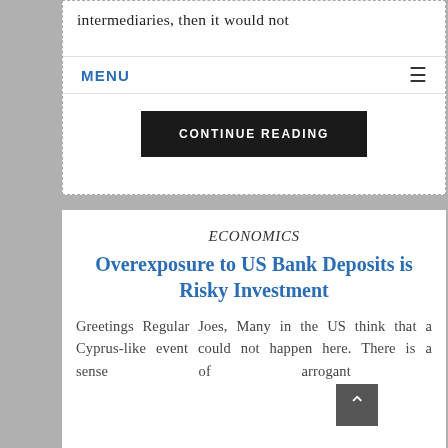intermediaries, then it would not be
MENU ≡
CONTINUE READING
ECONOMICS
Overexposure to US Bank Deposits is Risky Investment
Greetings Regular Joes, Many in the US think that a Cyprus-like event could not happen here. There is a sense of arrogant